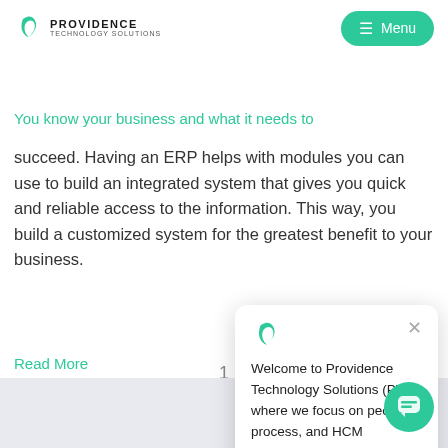Providence Technology Solutions logo and Menu button
Understand Which ERP Modules Your Business Needs–and When
You know your business and what it needs to succeed. Having an ERP helps with modules you can use to build an integrated system that gives you quick and reliable access to the information. This way, you build a customized system for the greatest benefit to your business.
Read More
1
[Figure (other): Chat popup with Providence Technology Solutions logo icon, close button, and message: Welcome to Providence Technology Solutions (PTS) where we focus on people, process, and HCM solutions!]
[Figure (other): Teal circular chat bubble button in bottom right corner]